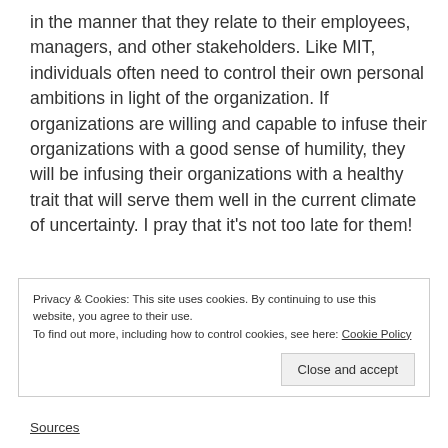in the manner that they relate to their employees, managers, and other stakeholders. Like MIT, individuals often need to control their own personal ambitions in light of the organization. If organizations are willing and capable to infuse their organizations with a good sense of humility, they will be infusing their organizations with a healthy trait that will serve them well in the current climate of uncertainty. I pray that it’s not too late for them!
Privacy & Cookies: This site uses cookies. By continuing to use this website, you agree to their use.
To find out more, including how to control cookies, see here: Cookie Policy
Sources